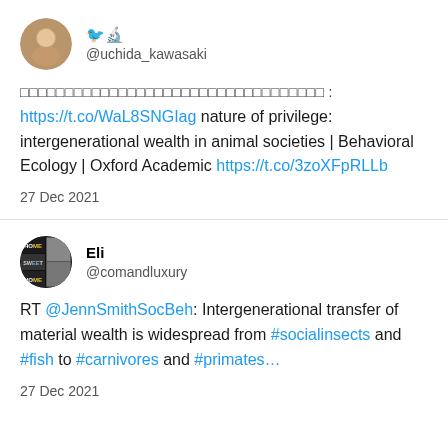[Figure (screenshot): First tweet: avatar of user with Japanese characters name, username @uchida_kawasaki. Tweet body in Japanese with link https://t.co/WaL8SNGIag and text 'nature of privilege: intergenerational wealth in animal societies | Behavioral Ecology | Oxford Academic' and link https://t.co/3zoXFpRLLb. Date: 27 Dec 2021.]
[Figure (screenshot): Second tweet: avatar showing 'HOME SWEET HOME' text grid, display name 'Eli', username @comandluxury. Tweet body: 'RT @JennSmithSocBeh: Intergenerational transfer of material wealth is widespread from #socialinsects and #fish to #carnivores and #primates...' Date: 27 Dec 2021.]